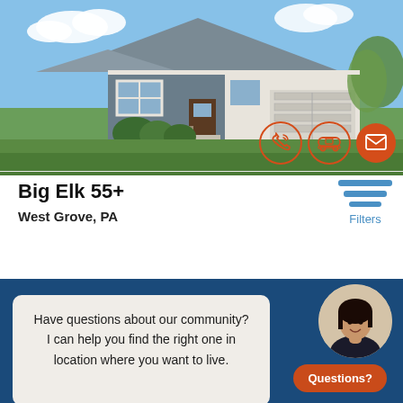[Figure (photo): Exterior photo of a suburban craftsman-style house with gray siding, white trim, large windows, and a two-car garage, with green lawn and blue sky background. Three circular action buttons overlay the bottom-right: phone, car, and envelope (filled orange).]
Big Elk 55+
West Grove, PA
[Figure (infographic): Filters button with three horizontal blue lines of decreasing width and 'Filters' label in blue text.]
[Figure (photo): Circular portrait of a smiling dark-haired woman on a beige background.]
Have questions about our communit… I can help you find the right one in… location where you want to live…
Questions?